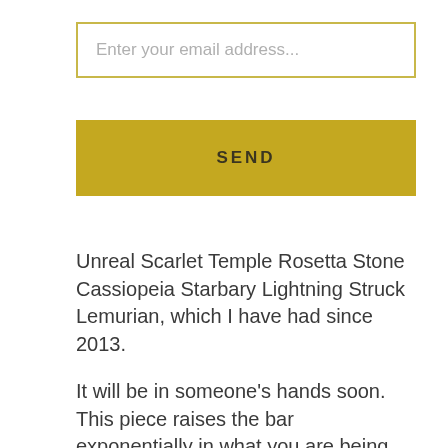Enter your email address...
SEND
Unreal Scarlet Temple Rosetta Stone Cassiopeia Starbary Lightning Struck Lemurian, which I have had since 2013.
It will be in someone's hands soon. This piece raises the bar exponentially in what you are being gifted the utmost honor of partnering with.
You will want to work often with it often so that you can learn its mysteries that will have great impact collectively. When you